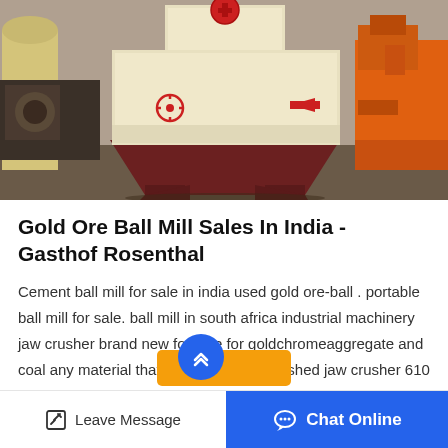[Figure (photo): Industrial machinery photo showing a large cream/beige colored hammer mill or impact crusher on a dark red metal stand, with other machinery visible in the background including an orange machine on the right and rolled material on the left, in a workshop/factory setting.]
Gold Ore Ball Mill Sales In India - Gasthof Rosenthal
Cement ball mill for sale in india used gold ore-ball . portable ball mill for sale. ball mill in south africa industrial machinery jaw crusher brand new for sale for goldchromeaggregate and coal any material that you want to be crushed jaw crusher 610 specs open...
Leave Message | Chat Online